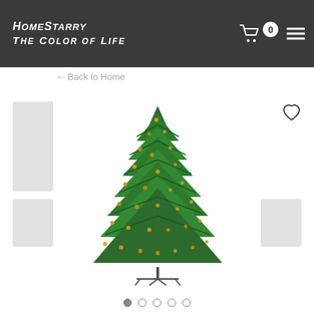HomeStarry THE COLOR OF LIFE
← Back to Home
[Figure (photo): Artificial Christmas tree with warm white lights on a metal stand, full and lush green branches, product photo on white background]
Navigation dots (5 circles, first filled)